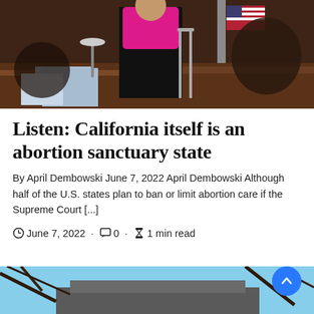[Figure (photo): Legislative chamber scene with a woman in a bright pink jacket standing near a podium or desk, with an American flag and wooden furniture visible in the background.]
Listen: California itself is an abortion sanctuary state
By April Dembowski June 7, 2022 April Dembowski Although half of the U.S. states plan to ban or limit abortion care if the Supreme Court [...]
June 7, 2022 · 0 · 1 min read
[Figure (photo): Exterior photo of a building partially obscured by tree branches against a blue sky.]